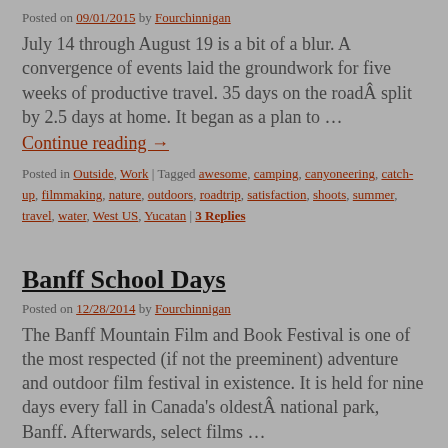Posted on 09/01/2015 by Fourchinnigan
July 14 through August 19 is a bit of a blur. A convergence of events laid the groundwork for five weeks of productive travel. 35 days on the roadÂ split by 2.5 days at home. It began as a plan to …
Continue reading →
Posted in Outside, Work | Tagged awesome, camping, canyoneering, catch-up, filmmaking, nature, outdoors, roadtrip, satisfaction, shoots, summer, travel, water, West US, Yucatan | 3 Replies
Banff School Days
Posted on 12/28/2014 by Fourchinnigan
The Banff Mountain Film and Book Festival is one of the most respected (if not the preeminent) adventure and outdoor film festival in existence. It is held for nine days every fall in Canada's oldestÂ national park, Banff. Afterwards, select films …